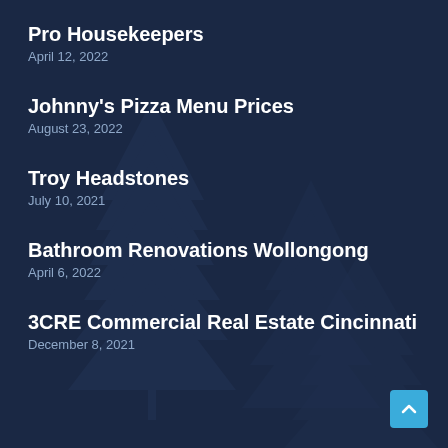Pro Housekeepers
April 12, 2022
Johnny's Pizza Menu Prices
August 23, 2022
Troy Headstones
July 10, 2021
Bathroom Renovations Wollongong
April 6, 2022
3CRE Commercial Real Estate Cincinnati
December 8, 2021